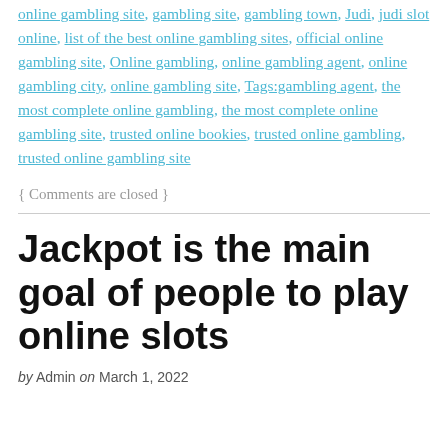online gambling site, gambling site, gambling town, Judi, judi slot online, list of the best online gambling sites, official online gambling site, Online gambling, online gambling agent, online gambling city, online gambling site, Tags:gambling agent, the most complete online gambling, the most complete online gambling site, trusted online bookies, trusted online gambling, trusted online gambling site
{ Comments are closed }
Jackpot is the main goal of people to play online slots
by Admin on March 1, 2022